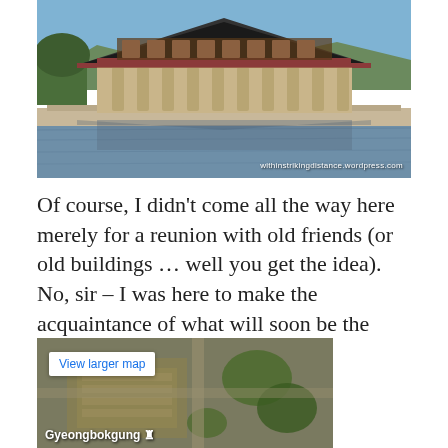[Figure (photo): Photograph of a traditional Korean palace hall (Gyeongbokgung) with dark tiled roof and red-brown columns, reflected in a frozen pond. Mountains and trees visible in background. Watermark reads: withinstrikingdistance.wordpress.com]
Of course, I didn't come all the way here merely for a reunion with old friends (or old buildings … well you get the idea). No, sir – I was here to make the acquaintance of what will soon be the newest addition to the grounds.
[Figure (screenshot): Google Maps satellite view showing Gyeongbokgung palace grounds from above, with a 'View larger map' button overlay and 'Gyeongbokgung' label with map icon at the bottom.]